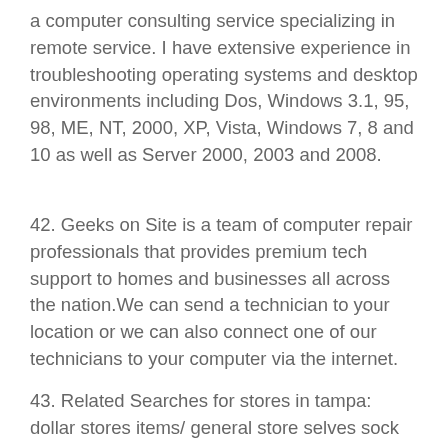a computer consulting service specializing in remote service. I have extensive experience in troubleshooting operating systems and desktop environments including Dos, Windows 3.1, 95, 98, ME, NT, 2000, XP, Vista, Windows 7, 8 and 10 as well as Server 2000, 2003 and 2008.
42. Geeks on Site is a team of computer repair professionals that provides premium tech support to homes and businesses all across the nation.We can send a technician to your location or we can also connect one of our technicians to your computer via the internet.
43. Related Searches for stores in tampa: dollar stores items/ general store selves sock store store supermarket supplies one dollar store grocery store shelf store bags cold store xiaomi official store store